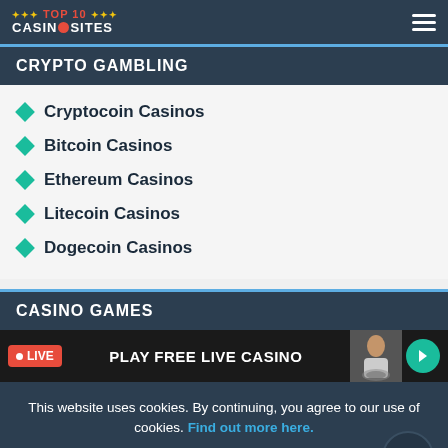TOP 10 CASINO SITES — navigation header with hamburger menu
CRYPTO GAMBLING
Cryptocoin Casinos
Bitcoin Casinos
Ethereum Casinos
Litecoin Casinos
Dogecoin Casinos
CASINO GAMES
[Figure (screenshot): Live casino promotional banner: LIVE badge, text PLAY FREE LIVE CASINO, dealer image, arrow button]
This website uses cookies. By continuing, you agree to our use of cookies. Find out more here.
Agree